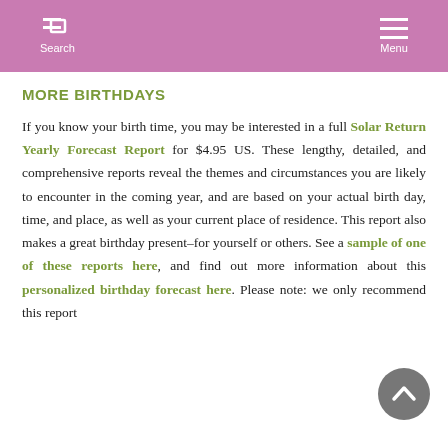Search  Menu
MORE BIRTHDAYS
If you know your birth time, you may be interested in a full Solar Return Yearly Forecast Report for $4.95 US. These lengthy, detailed, and comprehensive reports reveal the themes and circumstances you are likely to encounter in the coming year, and are based on your actual birth day, time, and place, as well as your current place of residence. This report also makes a great birthday present–for yourself or others. See a sample of one of these reports here, and find out more information about this personalized birthday forecast here. Please note: we only recommend this report